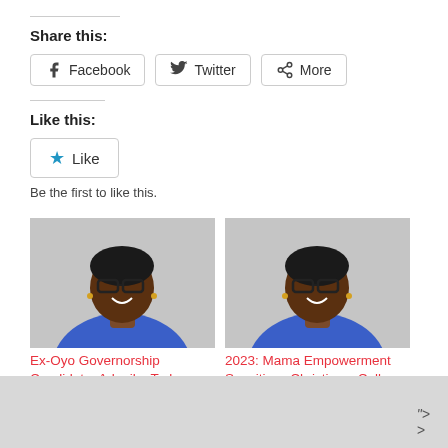Share this:
Facebook  Twitter  More
Like this:
Like
Be the first to like this.
[Figure (photo): Photo of a woman in a blue blazer with glasses, smiling, gray background]
Ex-Oyo Governorship Candidate, Adenike Tade,
[Figure (photo): Photo of a woman in a blue blazer with glasses, smiling, gray background]
2023: Mama Empowerment Sensitizes Christians, Calls